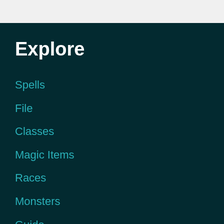Explore
Spells
File
Classes
Magic Items
Races
Monsters
Guide
Rules